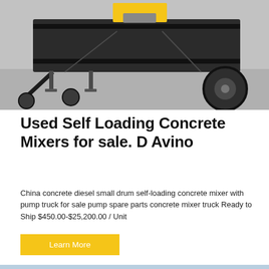[Figure (photo): Industrial concrete mixer trailer with black metal frame and wheel outriggers, photographed in a grey indoor/outdoor setting.]
Used Self Loading Concrete Mixers for sale. D Avino
China concrete diesel small drum self-loading concrete mixer with pump truck for sale pump spare parts concrete mixer truck Ready to Ship $450.00-$25,200.00 / Unit
[Figure (photo): Orange HBT40-13-45 concrete pump (混凝土泵) truck with Chinese text, shown in an outdoor urban setting with buildings in the background.]